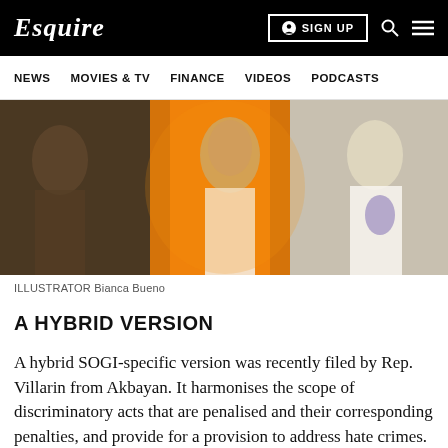Esquire | NEWS  MOVIES & TV  FINANCE  VIDEOS  PODCASTS | SIGN UP
[Figure (photo): A collage-style hero banner image showing historical sepia-toned figures against an orange background. Left portion shows a woman in vintage dress, center shows a young Filipino man in a white shirt facing the camera, right shows a man in white suit with flowers.]
ILLUSTRATOR Bianca Bueno
A HYBRID VERSION
A hybrid SOGI-specific version was recently filed by Rep. Villarin from Akbayan. It harmonises the scope of discriminatory acts that are penalised and their corresponding penalties, and provide for a provision to address hate crimes. It expands the mandate of the Commission on Human Rights to